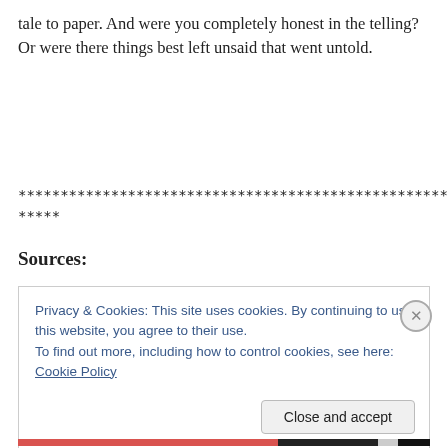tale to paper. And were you completely honest in the telling? Or were there things best left unsaid that went untold.
************************************************************************
*****
Sources:
Privacy & Cookies: This site uses cookies. By continuing to use this website, you agree to their use.
To find out more, including how to control cookies, see here: Cookie Policy
Close and accept